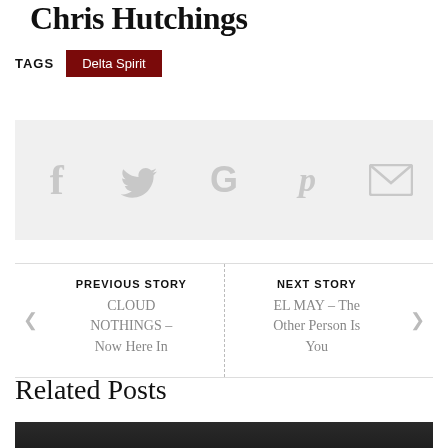Chris Hutchings
TAGS   Delta Spirit
[Figure (infographic): Social share bar with icons for Facebook, Twitter, Google+, Pinterest, and Email on a light grey background]
PREVIOUS STORY   CLOUD NOTHINGS – Now Here In
NEXT STORY   EL MAY – The Other Person Is You
Related Posts
[Figure (photo): Dark photograph showing people, partially cropped at bottom of page]